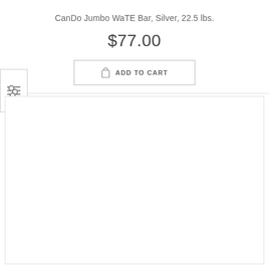CanDo Jumbo WaTE Bar, Silver, 22.5 lbs.
$77.00
[Figure (other): Add to cart button with shopping bag icon and text 'ADD TO CART']
[Figure (other): Filter/sliders icon in a small box on the left side]
[Figure (other): Large empty white content panel with border]